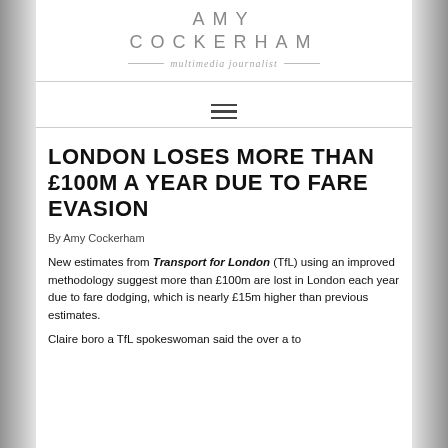AMY COCKERHAM
multimedia journalist
LONDON LOSES MORE THAN £100M A YEAR DUE TO FARE EVASION
By Amy Cockerham
New estimates from Transport for London (TfL) using an improved methodology suggest more than £100m are lost in London each year due to fare dodging, which is nearly £15m higher than previous estimates.
Claire boro a TfL spokeswoman said the over a to